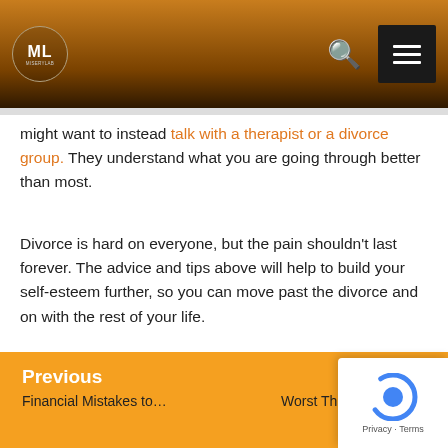ML [logo] — navigation header with search and menu
might want to instead talk with a therapist or a divorce group. They understand what you are going through better than most.
Divorce is hard on everyone, but the pain shouldn't last forever. The advice and tips above will help to build your self-esteem further, so you can move past the divorce and on with the rest of your life.
[Figure (other): Share buttons row: Print, PDF, Email icons with labels]
Previous: Financial Mistakes to… | Next: Worst Things You Ca…